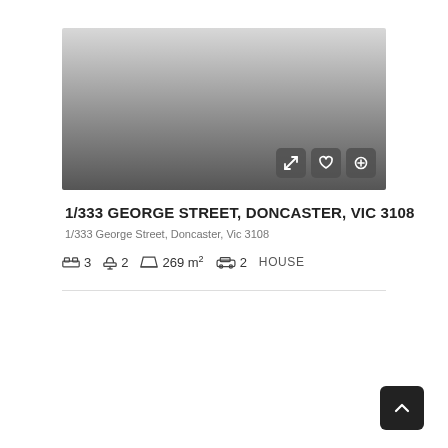[Figure (photo): Greyscale property photo fading from light grey at top to dark grey at bottom, with three icon buttons (expand, heart, plus) overlaid in the bottom-right corner.]
1/333 GEORGE STREET, DONCASTER, VIC 3108
1/333 George Street, Doncaster, Vic 3108
🛏 3  🚿 2  📐 269 m²  🚗 2  HOUSE